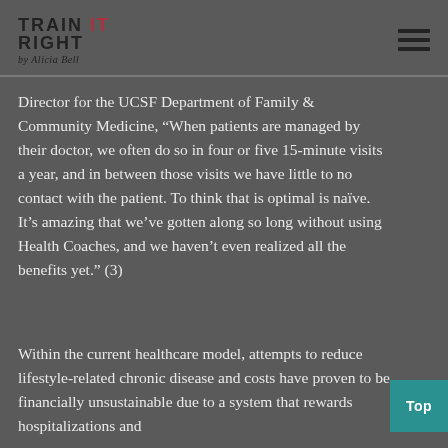Train It Right by Alicia Bell — navigation header
Director for the UCSF Department of Family & Community Medicine, “When patients are managed by their doctor, we often do so in four or five 15-minute visits a year, and in between those visits we have little to no contact with the patient. To think that is optimal is naive. It’s amazing that we’ve gotten along so long without using Health Coaches, and we haven’t even realized all the benefits yet.” (3)
Within the current healthcare model, attempts to reduce lifestyle-related chronic disease and costs have proven to be financially unsustainable due to a system that rewards hospitalizations and